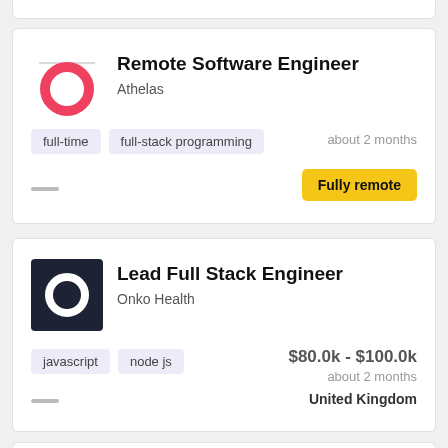Remote Software Engineer
Athelas
full-time  full-stack programming
about 2 months
Fully remote
Lead Full Stack Engineer
Onko Health
javascript  node js
$80.0k - $100.0k
about 2 months
United Kingdom
Full Stack Engineer (partial)